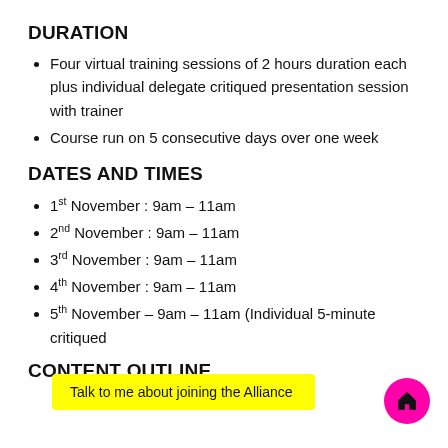DURATION
Four virtual training sessions of 2 hours duration each plus individual delegate critiqued presentation session with trainer
Course run on 5 consecutive days over one week
DATES AND TIMES
1st November : 9am – 11am
2nd November : 9am – 11am
3rd November : 9am – 11am
4th November : 9am – 11am
5th November – 9am – 11am (Individual 5-minute critiqued…
CONTENT OUTLINE
Talk to me about joining the Alliance